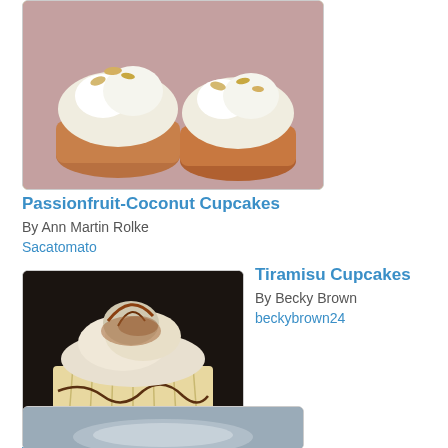[Figure (photo): Photo of passionfruit-coconut cupcakes with white frosting and coconut topping on a pink surface]
Passionfruit-Coconut Cupcakes
By Ann Martin Rolke
Sacatomato
[Figure (photo): Photo of a tiramisu cupcake with cream topping and cocoa dusting in a paper liner]
Tiramisu Cupcakes
By Becky Brown
beckybrown24
[Figure (photo): Partial photo of another recipe item at the bottom of the page]